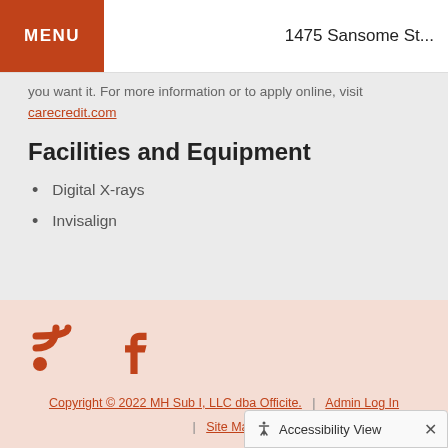MENU | 1475 Sansome St...
you want it. For more information or to apply online, visit carecredit.com
Facilities and Equipment
Digital X-rays
Invisalign
Copyright © 2022 MH Sub I, LLC dba Officite. | Admin Log In | Site Map
Accessibility View ×